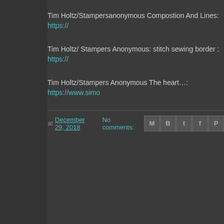Tim Holtz/Stampersanonymous Compostion And Lines: https://
Tim Holtz/ Stampers Anonymous: stitch sewing border : https://
Tim Holtz/Stampers Anonymous The heart…: https://www.simo
at December 29, 2018  No comments: